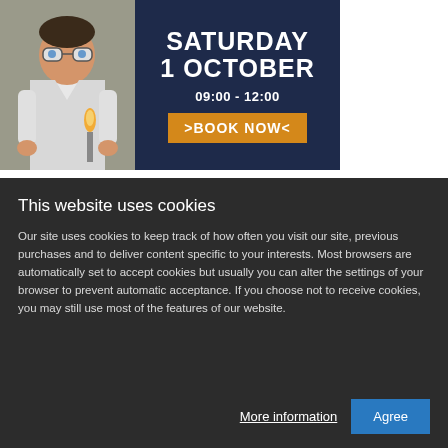[Figure (illustration): Banner image showing a boy in a lab coat and safety goggles conducting a science experiment with fire/Bunsen burner, next to text reading SATURDAY 1 OCTOBER 09:00 - 12:00 with a BOOK NOW button on a dark navy background]
This website uses cookies
Our site uses cookies to keep track of how often you visit our site, previous purchases and to deliver content specific to your interests. Most browsers are automatically set to accept cookies but usually you can alter the settings of your browser to prevent automatic acceptance. If you choose not to receive cookies, you may still use most of the features of our website.
More information  Agree